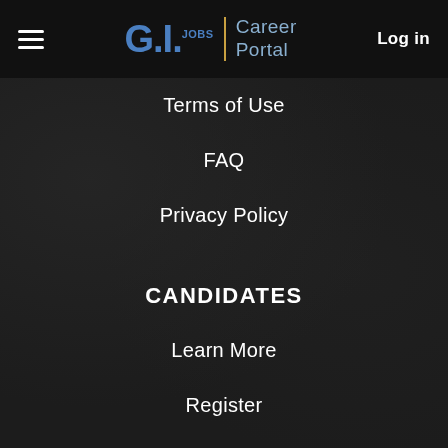G.I. Jobs | Career Portal  Log in
Terms of Use
FAQ
Privacy Policy
CANDIDATES
Learn More
Register
Search Jobs
EMPLOYERS
Learn More